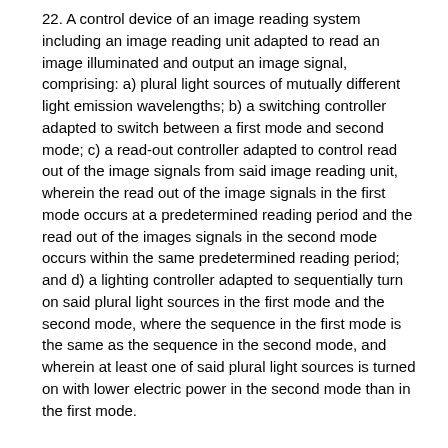22. A control device of an image reading system including an image reading unit adapted to read an image illuminated and output an image signal, comprising: a) plural light sources of mutually different light emission wavelengths; b) a switching controller adapted to switch between a first mode and second mode; c) a read-out controller adapted to control read out of the image signals from said image reading unit, wherein the read out of the image signals in the first mode occurs at a predetermined reading period and the read out of the images signals in the second mode occurs within the same predetermined reading period; and d) a lighting controller adapted to sequentially turn on said plural light sources in the first mode and the second mode, where the sequence in the first mode is the same as the sequence in the second mode, and wherein at least one of said plural light sources is turned on with lower electric power in the second mode than in the first mode.
23. A control device according to claim 22, wherein said light source is a light emitting element and further comprising a light guiding member for guiding the light emitted from the light emitting element for irradiating the image.
24. A control device according to claim 23, wherein said light emitting